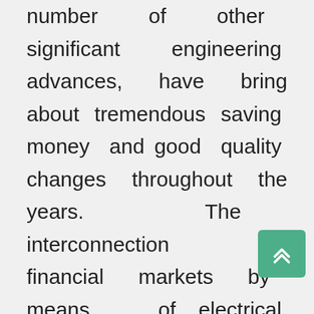number of other significant engineering advances, have bring about tremendous saving money and good quality changes throughout the years. The interconnection of financial markets by means of electrical implies along with the globally adoption of your World wide web have greatly reduced transaction and communication fees and introduced nations and ethnicities closer to one another than in the past conceivable.